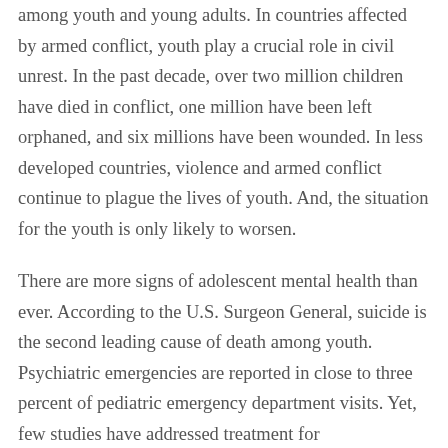among youth and young adults. In countries affected by armed conflict, youth play a crucial role in civil unrest. In the past decade, over two million children have died in conflict, one million have been left orphaned, and six millions have been wounded. In less developed countries, violence and armed conflict continue to plague the lives of youth. And, the situation for the youth is only likely to worsen.
There are more signs of adolescent mental health than ever. According to the U.S. Surgeon General, suicide is the second leading cause of death among youth. Psychiatric emergencies are reported in close to three percent of pediatric emergency department visits. Yet, few studies have addressed treatment for